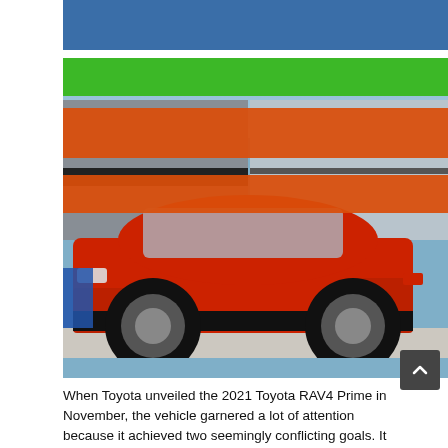[Figure (photo): Photo of a red Toyota RAV4 Prime SUV on display at an auto show, shown from the side. The image has colored banner overlays (blue at top, green below, and two orange/red bars across the middle). The car is red with black trim and large alloy wheels, displayed on a white tiled floor with an exhibition hall background.]
When Toyota unveiled the 2021 Toyota RAV4 Prime in November, the vehicle garnered a lot of attention because it achieved two seemingly conflicting goals. It was Toyota's most fuel efficient and one of its most